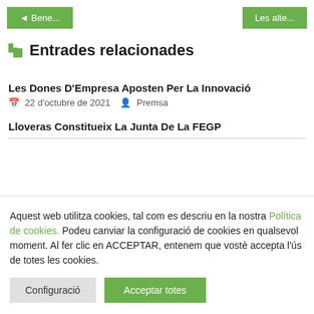◄ Bene...   Les alte...
Entrades relacionades
Les Dones D'Empresa Aposten Per La Innovació
22 d'octubre de 2021   Premsa
Lloveras Constitueix La Junta De La FEGP
Aquest web utilitza cookies, tal com es descriu en la nostra Política de cookies. Podeu canviar la configuració de cookies en qualsevol moment. Al fer clic en ACCEPTAR, entenem que vostè accepta l'ús de totes les cookies.
Configuració   Acceptar totes